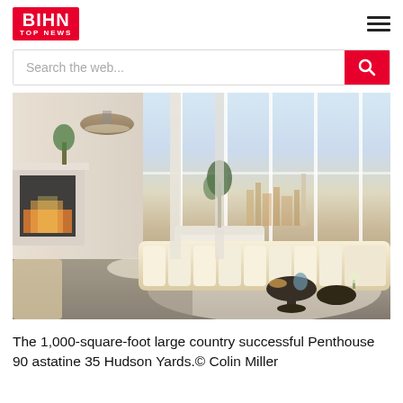BIHN TOP NEWS
Search the web...
[Figure (photo): Luxury penthouse living room with floor-to-ceiling windows overlooking a city skyline, featuring a large cream sectional sofa, modern black coffee tables, fireplace, and city view.]
The 1,000-square-foot large country successful Penthouse 90 astatine 35 Hudson Yards.© Colin Miller